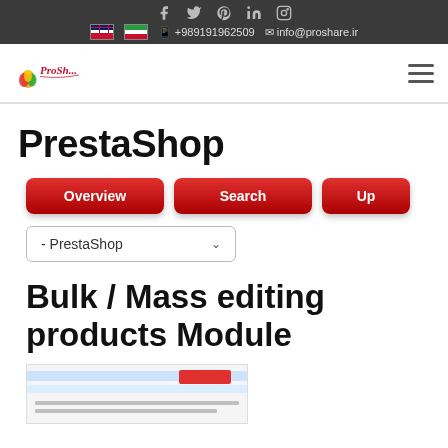Social icons and contact bar: +989191962509, info@proshare.ir
[Figure (logo): Pro Share logo with colorful flame icon and stylized text]
PrestaShop
Overview | Search | Up
- PrestaShop (dropdown)
Bulk / Mass editing products Module
[Figure (screenshot): Partial screenshot of a web interface with blue and red elements]